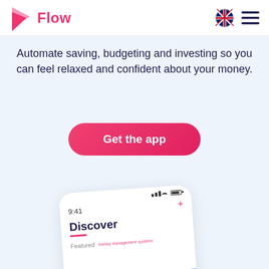[Figure (logo): Flow app logo: pink geometric arrow/bolt shape with text 'Flow' in pink, UK flag icon and hamburger menu in top right]
Automate saving, budgeting and investing so you can feel relaxed and confident about your money.
Get the app
[Figure (screenshot): Mobile phone screenshot showing the Flow app Discover screen with time 9:41, a plus icon, Discover heading with pink underline, Featured section label, and a blue card. A pink chat bubble icon appears bottom right.]